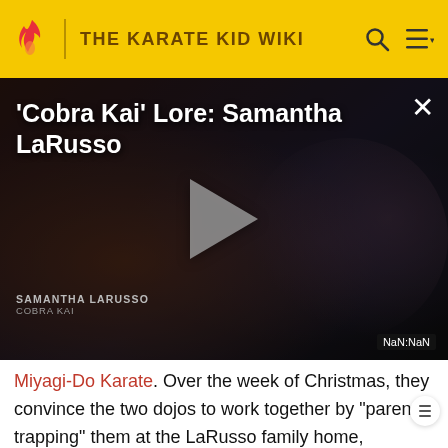THE KARATE KID WIKI
[Figure (screenshot): Video thumbnail showing 'Cobra Kai' Lore: Samantha LaRusso with a play button overlay and NaN:NaN duration badge]
Miyagi-Do Karate. Over the week of Christmas, they convince the two dojos to work together by "parent trapping" them at the LaRusso family home, explaining that Cobra Kai is the real enemy. Their efforts at peace are derailed by a surprise attack from the Cobra Kai dojo.